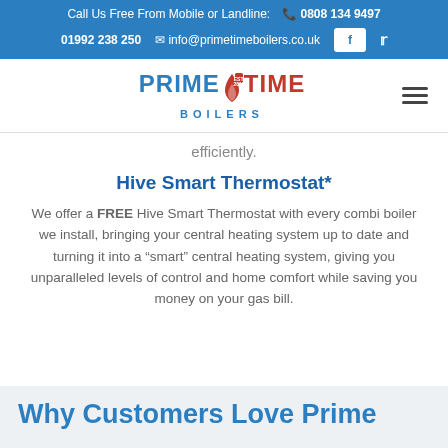Call Us Free From Mobile or Landline: 0808 134 9497 | 01992 238 250 | info@primetimeboilers.co.uk
[Figure (logo): Prime Time Boilers logo with flame graphic and EST. 2010 badge]
efficiently.
Hive Smart Thermostat*
We offer a FREE Hive Smart Thermostat with every combi boiler we install, bringing your central heating system up to date and turning it into a “smart” central heating system, giving you unparalleled levels of control and home comfort while saving you money on your gas bill.
Why Customers Love Prime